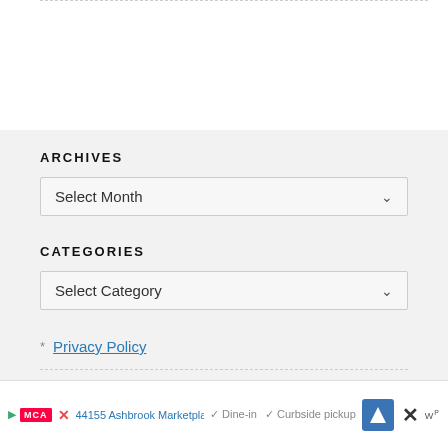ARCHIVES
Select Month
CATEGORIES
Select Category
Privacy Policy
Advertising Policy
Do Not Sell My Personal Information
We partner with Rakuten Marketing, who may collect personal information...